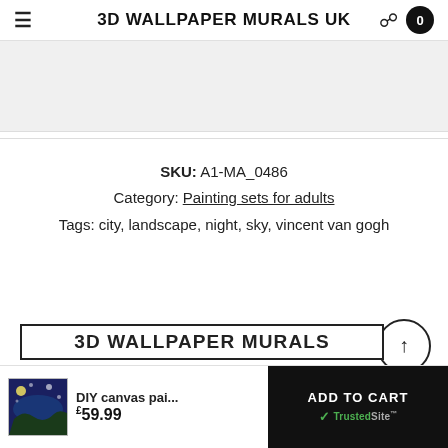3D WALLPAPER MURALS UK
[Figure (screenshot): Partially visible product image area (gray placeholder / cropped image)]
SKU: A1-MA_0486
Category: Painting sets for adults
Tags: city, landscape, night, sky, vincent van gogh
[Figure (screenshot): Partially visible website footer strip showing '3D WALLPAPER MURALS' text in a bordered box]
DIY canvas pai...
£59.99
ADD TO CART